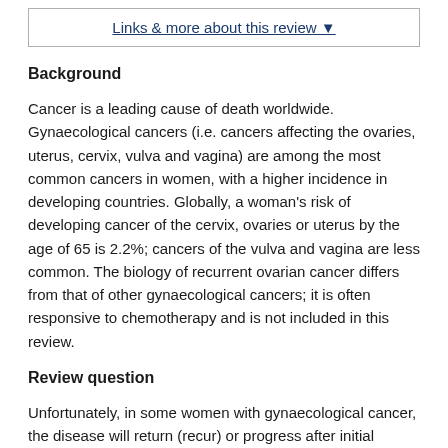Links & more about this review ▼
Background
Cancer is a leading cause of death worldwide. Gynaecological cancers (i.e. cancers affecting the ovaries, uterus, cervix, vulva and vagina) are among the most common cancers in women, with a higher incidence in developing countries. Globally, a woman's risk of developing cancer of the cervix, ovaries or uterus by the age of 65 is 2.2%; cancers of the vulva and vagina are less common. The biology of recurrent ovarian cancer differs from that of other gynaecological cancers; it is often responsive to chemotherapy and is not included in this review.
Review question
Unfortunately, in some women with gynaecological cancer, the disease will return (recur) or progress after initial treatment. Cancer recurrence is defined as the return of